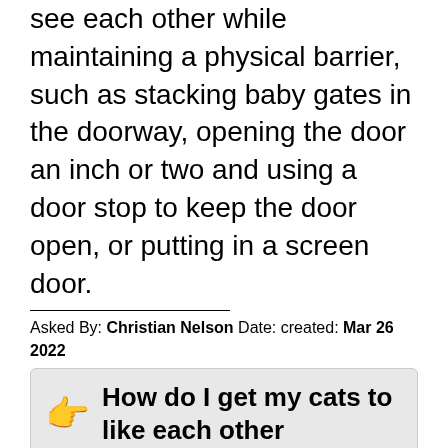to go more gradually. Allow the cats to see each other while maintaining a physical barrier, such as stacking baby gates in the doorway, opening the door an inch or two and using a door stop to keep the door open, or putting in a screen door.
Asked By: Christian Nelson Date: created: Mar 26 2022
How do I get my cats to like each other
Answered By: John Gonzales Date: created: Mar 28 2022
How to Get Your Cats to Like Each OtherMake sure each cat has plenty of his or her own space. … Don't give the cats catnip. … Have plenty of their favorite cat toys around to distract them